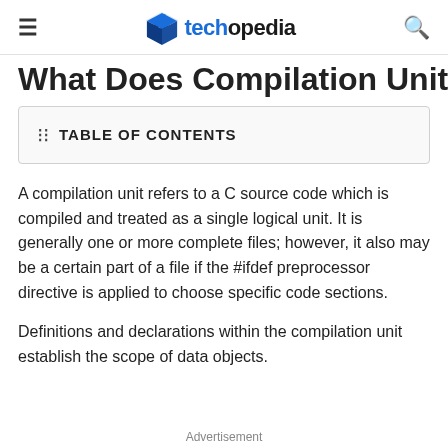techopedia
What Does Compilation Unit
TABLE OF CONTENTS
A compilation unit refers to a C source code which is compiled and treated as a single logical unit. It is generally one or more complete files; however, it also may be a certain part of a file if the #ifdef preprocessor directive is applied to choose specific code sections.
Definitions and declarations within the compilation unit establish the scope of data objects.
Advertisement